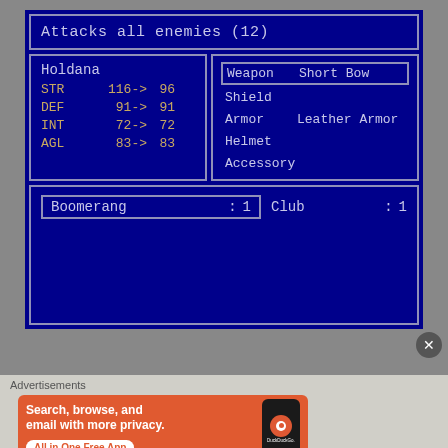[Figure (screenshot): RPG game screenshot showing character stat comparison and equipment screen. Top box: 'Attacks all enemies (12)'. Middle left: character Holdana with STR 116->96, DEF 91->91, INT 72->72, AGL 83->83. Middle right: Weapon Short Bow (selected), Shield, Armor Leather Armor, Helmet, Accessory. Bottom: inventory with Boomerang :1 and Club :1.]
Advertisements
[Figure (infographic): DuckDuckGo advertisement banner with orange background. Text: 'Search, browse, and email with more privacy. All in One Free App'. Shows DuckDuckGo logo on phone.]